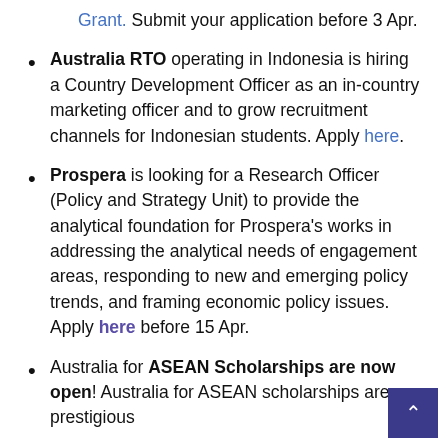Grant. Submit your application before 3 Apr.
Australia RTO operating in Indonesia is hiring a Country Development Officer as an in-country marketing officer and to grow recruitment channels for Indonesian students. Apply here.
Prospera is looking for a Research Officer (Policy and Strategy Unit) to provide the analytical foundation for Prospera's works in addressing the analytical needs of engagement areas, responding to new and emerging policy trends, and framing economic policy issues. Apply here before 15 Apr.
Australia for ASEAN Scholarships are now open! Australia for ASEAN scholarships are prestigious...